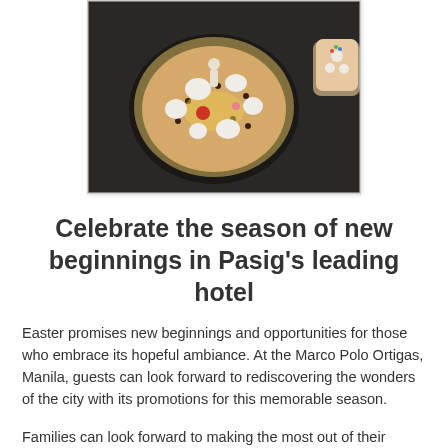[Figure (photo): Overhead view of a decorative dessert or crepe on a dark round plate, topped with meringues, colorful sprinkles, strawberries, and edible decorations, placed on a dark background with more desserts visible in the background]
Celebrate the season of new beginnings in Pasig's leading hotel
Easter promises new beginnings and opportunities for those who embrace its hopeful ambiance. At the Marco Polo Ortigas, Manila, guests can look forward to rediscovering the wonders of the city with its promotions for this memorable season.
Families can look forward to making the most out of their urban getaway with the Spring Escapes stay package, which is available across all Marco Polo hotels in Asia. Guests booking this offer can enjoy